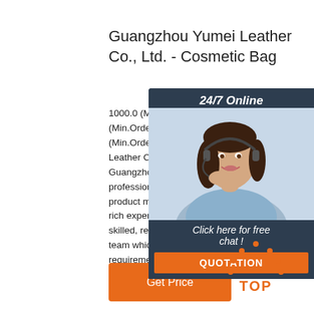Guangzhou Yumei Leather Co., Ltd. - Cosmetic Bag
1000.0 (Min.Order) $2.40 - $2... (Min.Order) $1.90 - $2.57. 50... (Min.Order) Guangzhou Yum... Leather Co., Ltd. is located in... Guangzhou. We have been a professional cosmetic packag... product manufacturer in Chin... rich experience for years. We... skilled, responsible and comm... team which will ensure that y... requirements will be ...
[Figure (illustration): Chat widget overlay showing a woman with headset, 24/7 Online header, Click here for free chat text, and QUOTATION button]
[Figure (illustration): Orange TOP badge with dots arranged in triangle above the word TOP]
Get Price